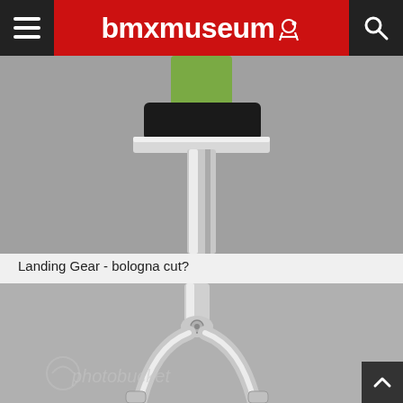bmxmuseum
[Figure (photo): Close-up photo of a BMX bike handlebar stem with black rubber grip and chrome/silver tube, against a grey carpet background]
Landing Gear - bologna cut?
[Figure (photo): Photo of a chrome/silver BMX fork (Landing Gear) laying flat on grey carpet, showing the steerer tube and two fork legs forming a U shape, with a watermark overlay]